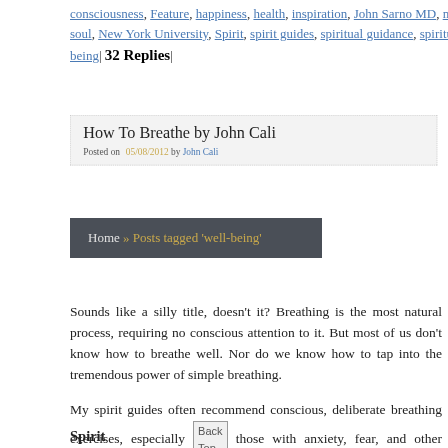consciousness, Feature, happiness, health, inspiration, John Sarno MD, mind body soul, New York University, Spirit, spirit guides, spiritual guidance, spirituality, well-being| 32 Replies|
How To Breathe by John Cali
Posted on 05/08/2012 by John Cali
Home » Posts tagged 'well-being'
Sounds like a silly title, doesn't it? Breathing is the most natural process, requiring no conscious attention to it. But most of us don't know how to breathe well. Nor do we know how to tap into the tremendous power of simple breathing.
My spirit guides often recommend conscious, deliberate breathing exercises, especially for those with anxiety, fear, and other similar issues.
Spirit